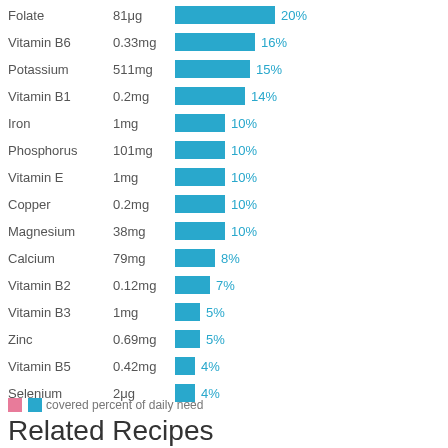[Figure (bar-chart): Vitamins and Minerals]
covered percent of daily need
Related Recipes